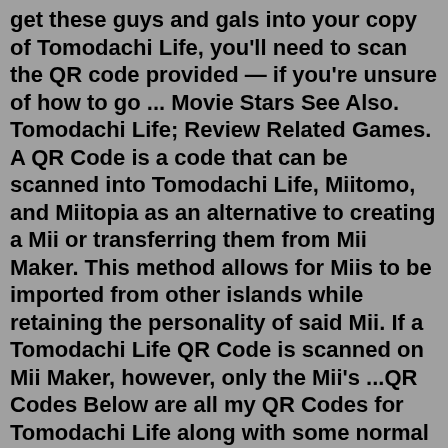get these guys and gals into your copy of Tomodachi Life, you'll need to scan the QR code provided — if you're unsure of how to go ... Movie Stars See Also. Tomodachi Life; Review Related Games. A QR Code is a code that can be scanned into Tomodachi Life, Miitomo, and Miitopia as an alternative to creating a Mii or transferring them from Mii Maker. This method allows for Miis to be imported from other islands while retaining the personality of said Mii. If a Tomodachi Life QR Code is scanned on Mii Maker, however, only the Mii's ...QR Codes Below are all my QR Codes for Tomodachi Life along with some normal Mii Plaza ones! Please keep in mind that if you scan them to a game that is from a different region than North America, they will not come with their the outfit they are wearing or an interior. The Miis are organized by series which are organized in alphabetical order.To scan them, go to town hall in your Tomodachi Life game and choose the "QR Code" option. Choose "Scan QR Code" and then hold your 2DS or 3DS up to your computer monitor